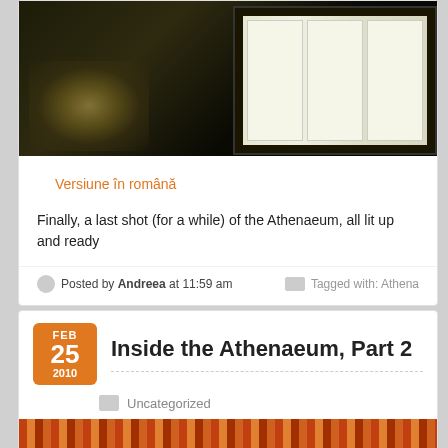[Figure (photo): Nighttime exterior photo of the Athenaeum building with lit display boards showing concert programs]
Versiune în română
Finally, a last shot (for a while) of the Athenaeum, all lit up and ready
Posted by Andreea at 11:59 am
Tagged with: Athena
Feb 25 2010
Inside the Athenaeum, Part 2
Uncategorized
[Figure (photo): Interior photo of the Athenaeum showing ornate ceiling with lights and decorative patterns]